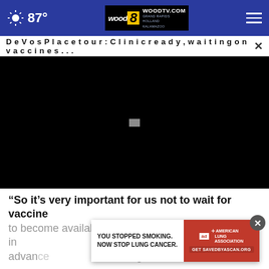87° WOODTV.COM GRAND RAPIDS HOLLAND KALAMAZOO
DeVos Place tour: Clinic ready, waiting on vaccine s... ×
[Figure (screenshot): Black video player area with a small white play button indicator in the center]
“So it’s very important for us not to wait for vaccine to become available in huge quantities but to show in advance… organ, will take advantage of it…
[Figure (other): Advertisement: YOU STOPPED SMOKING. NOW STOP LUNG CANCER. American Lung Association. Get SAVEDBYASCAN.ORG]